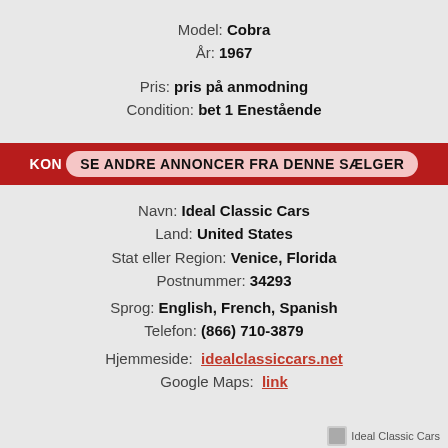Model: Cobra
År: 1967
Pris: pris på anmodning
Condition: bet 1 Enestående
KON SE ANDRE ANNONCER FRA DENNE SÆLGER
Navn: Ideal Classic Cars
Land: United States
Stat eller Region: Venice, Florida
Postnummer: 34293
Sprog: English, French, Spanish
Telefon: (866) 710-3879
Hjemmeside: idealclassiccars.net
Google Maps: link
[Figure (logo): Ideal Classic Cars logo thumbnail at bottom right]